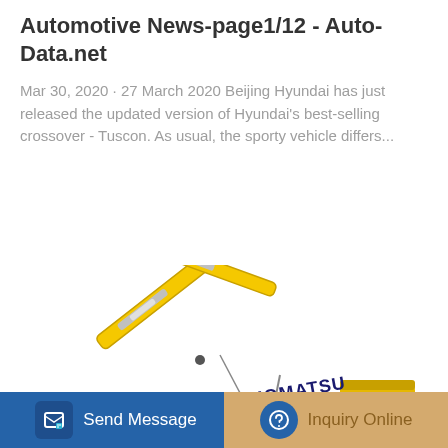Automotive News-page1/12 - Auto-Data.net
Mar 30, 2020 · 27 March 2020 Beijing Hyundai has just released the updated version of Hyundai's best-selling crossover - Tuscon. As usual, the sporty vehicle differs...
[Figure (illustration): Yellow Komatsu hybrid excavator/crawler with boom arm extended, white background]
Send Message | Inquiry Online